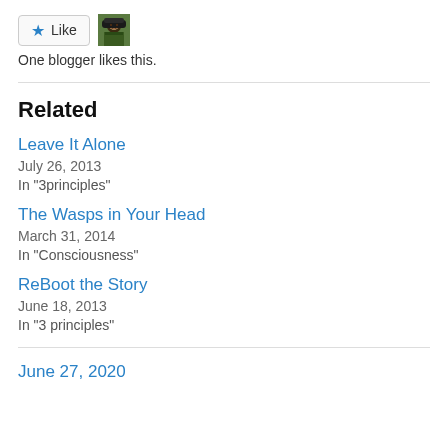[Figure (other): Like button with star icon and a small blogger avatar thumbnail]
One blogger likes this.
Related
Leave It Alone
July 26, 2013
In "3principles"
The Wasps in Your Head
March 31, 2014
In "Consciousness"
ReBoot the Story
June 18, 2013
In "3 principles"
June 27, 2020